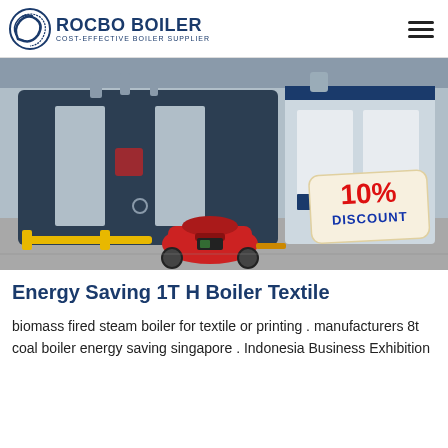ROCBO BOILER — COST-EFFECTIVE BOILER SUPPLIER
[Figure (photo): Industrial boilers in a factory setting. Large dark blue/grey boilers with silver panels, a red burner unit at front, yellow piping. A 10% DISCOUNT badge is overlaid on the lower right of the image.]
Energy Saving 1T H Boiler Textile
biomass fired steam boiler for textile or printing . manufacturers 8t coal boiler energy saving singapore . Indonesia Business Exhibition